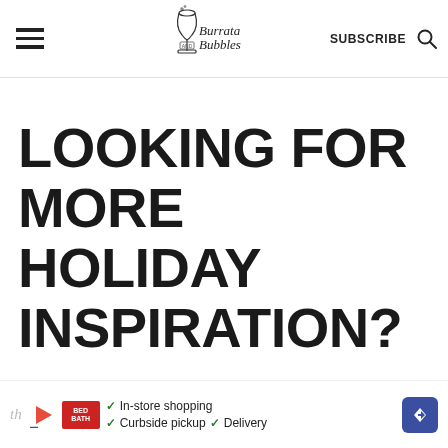Burrata and Bubbles — SUBSCRIBE
LOOKING FOR MORE HOLIDAY INSPIRATION?
Maple-braised turkey legs and th...
[Figure (other): Advertisement banner with In-store shopping, Curbside pickup, Delivery]